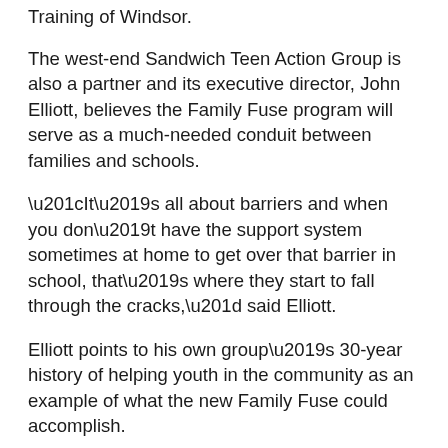Training of Windsor.
The west-end Sandwich Teen Action Group is also a partner and its executive director, John Elliott, believes the Family Fuse program will serve as a much-needed conduit between families and schools.
“It’s all about barriers and when you don’t have the support system sometimes at home to get over that barrier in school, that’s where they start to fall through the cracks,” said Elliott.
Elliott points to his own group’s 30-year history of helping youth in the community as an example of what the new Family Fuse could accomplish.
According to Elliott, a career in policing for a Black person was not seen as a viable option in his community 30 years ago but, says now four youth from his group have gone on to join the Windsor Police Service (WPS) and two more